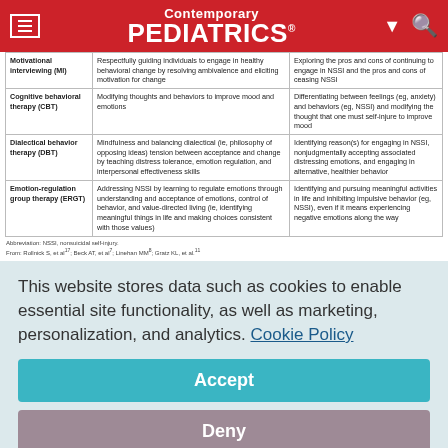Contemporary PEDIATRICS
|  | General description | Application to NSSI |
| --- | --- | --- |
| Motivational interviewing (MI) | Respectfully guiding individuals to engage in healthy behavioral change by resolving ambivalence and eliciting motivation for change | Exploring the pros and cons of continuing to engage in NSSI and the pros and cons of ceasing NSSI |
| Cognitive behavioral therapy (CBT) | Modifying thoughts and behaviors to improve mood and emotions | Differentiating between feelings (eg, anxiety) and behaviors (eg, NSSI) and modifying the thought that one must self-injure to improve mood |
| Dialectical behavior therapy (DBT) | Mindfulness and balancing dialectical (ie, philosophy of opposing ideas) tension between acceptance and change by teaching distress tolerance, emotion regulation, and interpersonal effectiveness skills | Identifying reason(s) for engaging in NSSI, nonjudgmentally accepting associated distressing emotions, and engaging in alternative, healthier behavior |
| Emotion-regulation group therapy (ERGT) | Addressing NSSI by learning to regulate emotions through understanding and acceptance of emotions, control of behavior, and value-directed living (ie, identifying meaningful things in life and making choices consistent with those values) | Identifying and pursuing meaningful activities in life and inhibiting impulsive behavior (eg, NSSI), even if it means experiencing negative emotions along the way |
Abbreviation: NSSI, nonsuicidal self-injury.
From: Rollnick S, et al17; Beck AT, et al7; Linehan MM8; Gratz KL, et al.11
This website stores data such as cookies to enable essential site functionality, as well as marketing, personalization, and analytics. Cookie Policy
Accept
Deny